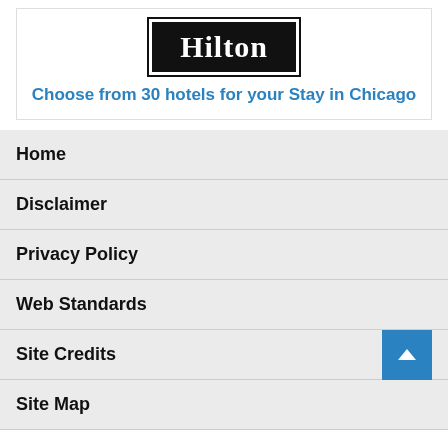[Figure (logo): Hilton hotel logo — white text on black background with border]
Choose from 30 hotels for your Stay in Chicago
Home
Disclaimer
Privacy Policy
Web Standards
Site Credits
Site Map